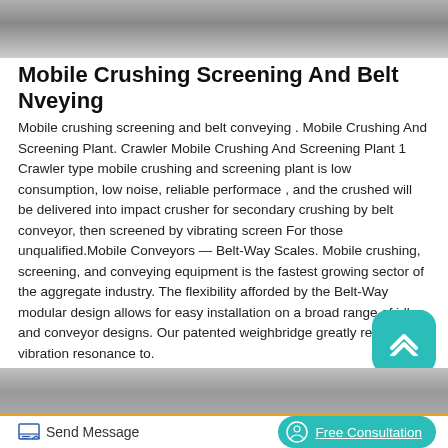[Figure (photo): Top portion of a photo showing outdoor construction or industrial machinery scene, partially cropped]
Mobile Crushing Screening And Belt Nveying
Mobile crushing screening and belt conveying . Mobile Crushing And Screening Plant. Crawler Mobile Crushing And Screening Plant 1 Crawler type mobile crushing and screening plant is low consumption, low noise, reliable performace , and the crushed will be delivered into impact crusher for secondary crushing by belt conveyor, then screened by vibrating screen For those unqualified.Mobile Conveyors — Belt-Way Scales. Mobile crushing, screening, and conveying equipment is the fastest growing sector of the aggregate industry. The flexibility afforded by the Belt-Way modular design allows for easy installation on a broad range of idler and conveyor designs. Our patented weighbridge greatly reduces vibration resonance to.
[Figure (photo): Bottom portion of a photo showing industrial machinery or equipment, partially cropped at top of lower section]